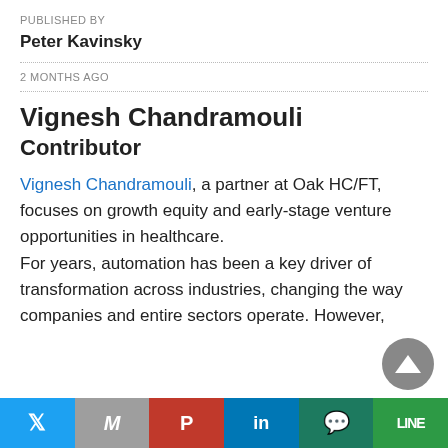PUBLISHED BY
Peter Kavinsky
2 MONTHS AGO
Vignesh Chandramouli
Contributor
Vignesh Chandramouli, a partner at Oak HC/FT, focuses on growth equity and early-stage venture opportunities in healthcare. For years, automation has been a key driver of transformation across industries, changing the way companies and entire sectors operate. However,